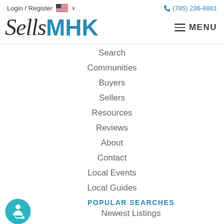Login / Register  🇺🇸 ∨   (785) 236-8881
[Figure (logo): SellsMHK logo — 'Sells' in cursive dark text, 'MHK' in bold teal sans-serif]
Search
Communities
Buyers
Sellers
Resources
Reviews
About
Contact
Local Events
Local Guides
POPULAR SEARCHES
Newest Listings